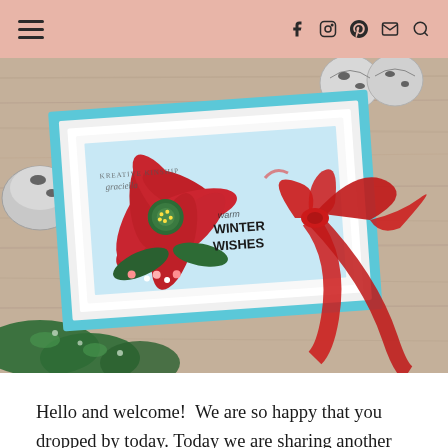≡  f  [instagram]  [pinterest]  [mail]  [search]
[Figure (photo): A handmade greeting card with a red poinsettia flower and 'Warm Winter Wishes' text, decorated with a red ribbon bow, placed on a wooden surface with silver bells and green garland]
Hello and welcome!  We are so happy that you dropped by today. Today we are sharing another